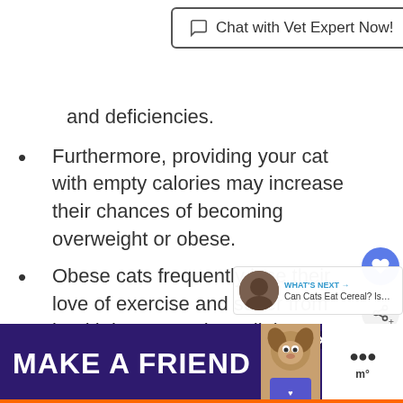[Figure (other): Chat with Vet Expert Now! button with speech bubble icon, bordered rectangle]
and deficiencies.
Furthermore, providing your cat with empty calories may increase their chances of becoming overweight or obese.
Obese cats frequently lose their love of exercise and suffer from health issues such as diabetes, heart disease, arthritis, and various types of cancer. Given that more than half
[Figure (infographic): MAKE A FRIEND advertisement banner with dog image on purple background with orange underline]
[Figure (infographic): What's Next overlay showing Can Cats Eat Cereal? Is... with cat thumbnail]